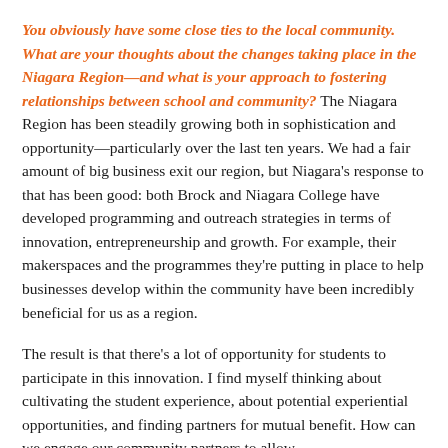You obviously have some close ties to the local community. What are your thoughts about the changes taking place in the Niagara Region—and what is your approach to fostering relationships between school and community? The Niagara Region has been steadily growing both in sophistication and opportunity—particularly over the last ten years. We had a fair amount of big business exit our region, but Niagara's response to that has been good: both Brock and Niagara College have developed programming and outreach strategies in terms of innovation, entrepreneurship and growth. For example, their makerspaces and the programmes they're putting in place to help businesses develop within the community have been incredibly beneficial for us as a region.
The result is that there's a lot of opportunity for students to participate in this innovation. I find myself thinking about cultivating the student experience, about potential experiential opportunities, and finding partners for mutual benefit. How can we engage our community partners to allow